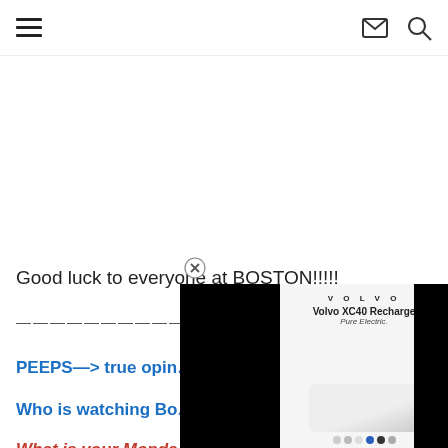Navigation menu, mail icon, search icon
Good luck to everyone at BOSTON!!!!!
————————————————
PEEPS—> true opin…
Who is watching Bo… T…?
What is your Monda… run… sele…?
[Figure (screenshot): Advertisement overlay showing Volvo XC40 Recharge Pure Electric car with close button, color selection dots, and black panels on sides]